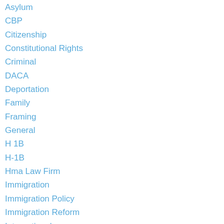Asylum
CBP
Citizenship
Constitutional Rights
Criminal
DACA
Deportation
Family
Framing
General
H 1B
H-1B
Hma Law Firm
Immigration
Immigration Policy
Immigration Reform
International
Interns
Muslim Ban
National Security
Politics